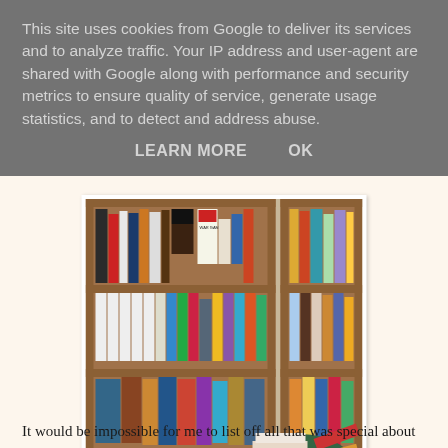This site uses cookies from Google to deliver its services and to analyze traffic. Your IP address and user-agent are shared with Google along with performance and security metrics to ensure quality of service, generate usage statistics, and to detect and address abuse.
LEARN MORE    OK
[Figure (photo): A home library/bookshelf scene showing two wooden bookshelves filled with books. A green armchair or bean bag is visible in the lower right corner with books stacked on it. Various books of different colors and sizes fill the shelves.]
It would be impossible for me to list off all that was special about